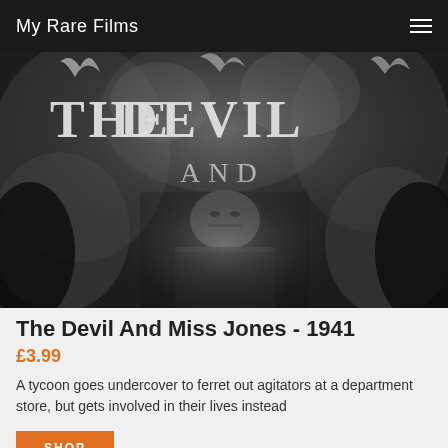My Rare Films
[Figure (photo): Black and white movie poster/still from 'The Devil And Miss Jones' (1941) showing fiery text reading 'THE DEVIL AND' with a stern-looking older man in a dark suit below]
The Devil And Miss Jones - 1941
£3.99
A tycoon goes undercover to ferret out agitators at a department store, but gets involved in their lives instead
SHOP